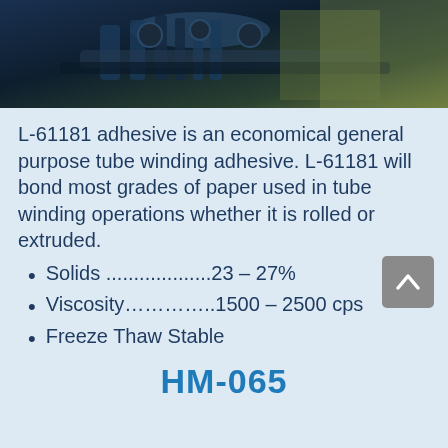[Figure (photo): Industrial machinery photo showing tube winding or adhesive application equipment, dark tones with blue/green highlights]
L-61181 adhesive is an economical general purpose tube winding adhesive. L-61181 will bond most grades of paper used in tube winding operations whether it is rolled or extruded.
Solids ...................23 – 27%
Viscosity…………..1500 – 2500 cps
Freeze Thaw Stable
HM-065